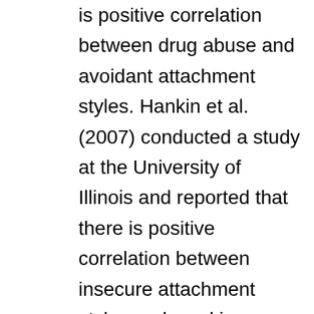is positive correlation between drug abuse and avoidant attachment styles. Hankin et al. (2007) conducted a study at the University of Illinois and reported that there is positive correlation between insecure attachment styles and smoking, alcohol use and marijuana use. In a follow-up research in the same university, the results showed that there is a significant positive correlation between anxious attachment style and the prevalence of stimulant drug use, smoking and alcohol use. Haward and Medway investigated the relationship between attachment styles, coping styles, life stresses and due responses in 75 couples. They